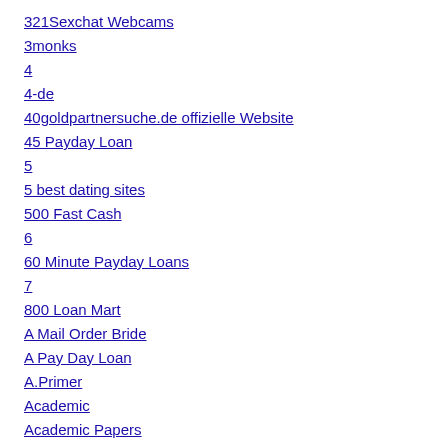321Sexchat Webcams
3monks
4
4-de
40goldpartnersuche.de offizielle Website
45 Payday Loan
5
5 best dating sites
500 Fast Cash
6
60 Minute Payday Loans
7
800 Loan Mart
A Mail Order Bride
A Pay Day Loan
A.Primer
Academic
Academic Papers
Academic Writers